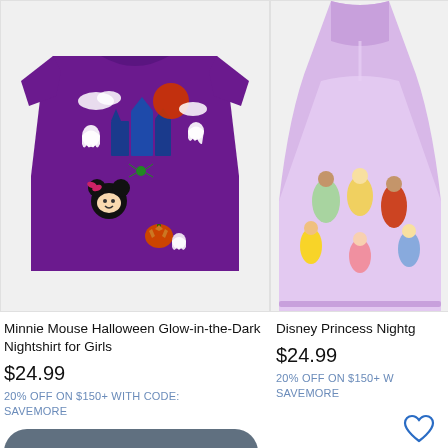[Figure (photo): Minnie Mouse Halloween Glow-in-the-Dark Nightshirt for Girls on a light grey background, purple shirt with Halloween castle and characters graphic]
[Figure (photo): Disney Princess Nightgown partially visible, light purple dress with princess characters print]
Minnie Mouse Halloween Glow-in-the-Dark Nightshirt for Girls
$24.99
20% OFF ON $150+ WITH CODE: SAVEMORE
SOLD OUT
Disney Princess Nightg...
$24.99
20% OFF ON $150+ W SAVEMORE